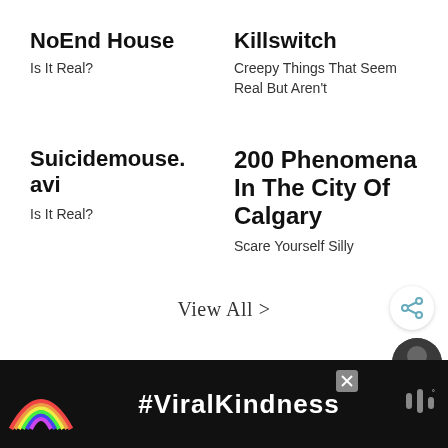NoEnd House
Is It Real?
Killswitch
Creepy Things That Seem Real But Aren't
Suicidemouse.avi
Is It Real?
200 Phenomena In The City Of Calgary
Scare Yourself Silly
View All >
[Figure (other): Share button icon (circle with share symbol)]
[Figure (photo): Small circular avatar photo of a person]
[Figure (other): Advertisement bar with rainbow illustration and #ViralKindness hashtag text on dark background]